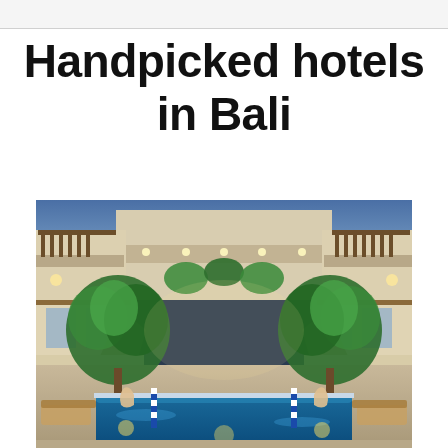Handpicked hotels in Bali
[Figure (photo): Interior courtyard of a Balinese hotel showing multiple floors with balconies, lush green tropical trees, warm ambient lighting, and a blue swimming pool in the foreground with decorative elements]